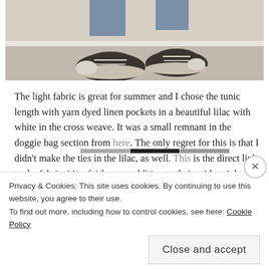[Figure (photo): Photo of a person's feet wearing dark gray/charcoal Converse-style sneakers with white laces and white toe caps, standing on a beige carpet floor near a white baseboard.]
The light fabric is great for summer and I chose the tunic length with yarn dyed linen pockets in a beautiful lilac with white in the cross weave. It was a small remnant in the doggie bag section from here. The only regret for this is that I didn't make the ties in the lilac, as well. This is the direct link to the fabric, it's a fairly new addition to their mid-weight yarn-dyed line.
Privacy & Cookies: This site uses cookies. By continuing to use this website, you agree to their use.
To find out more, including how to control cookies, see here: Cookie Policy
Close and accept